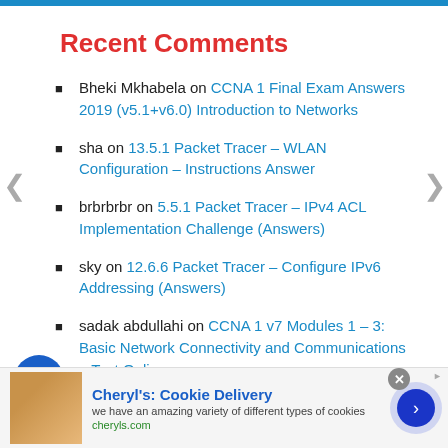Recent Comments
Bheki Mkhabela on CCNA 1 Final Exam Answers 2019 (v5.1+v6.0) Introduction to Networks
sha on 13.5.1 Packet Tracer – WLAN Configuration – Instructions Answer
brbrbrbr on 5.5.1 Packet Tracer – IPv4 ACL Implementation Challenge (Answers)
sky on 12.6.6 Packet Tracer – Configure IPv6 Addressing (Answers)
sadak abdullahi on CCNA 1 v7 Modules 1 – 3: Basic Network Connectivity and Communications – Test Online
[Figure (other): Advertisement banner for Cheryl's Cookie Delivery with close button and navigation arrow]